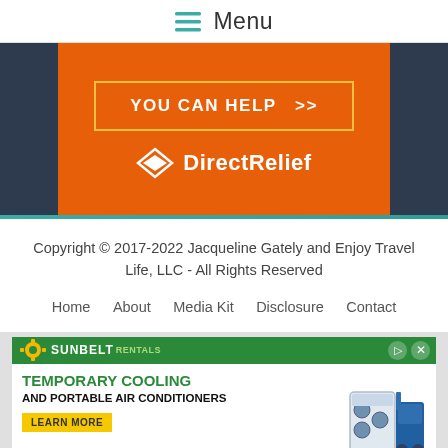≡ Menu
[Figure (infographic): Orange and dark navy banner with 'YOU CAN HELP >>' button in orange outlined box, and Direct Relief logo at bottom right on orange background]
Copyright © 2017-2022 Jacqueline Gately and Enjoy Travel Life, LLC - All Rights Reserved
Home  About  Media Kit  Disclosure  Contact
[Figure (infographic): Sunbelt Rentals advertisement for Temporary Cooling and Portable Air Conditioners with green header bar, yellow Learn More button, and image of portable air conditioning unit]